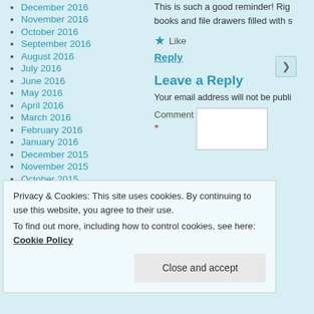December 2016
November 2016
October 2016
September 2016
August 2016
July 2016
June 2016
May 2016
April 2016
March 2016
February 2016
January 2016
December 2015
November 2015
October 2015
September 2015
August 2015
This is such a good reminder! Rig books and file drawers filled with s
★ Like
Reply
Leave a Reply
Your email address will not be publi
Comment *
Privacy & Cookies: This site uses cookies. By continuing to use this website, you agree to their use.
To find out more, including how to control cookies, see here: Cookie Policy
Close and accept